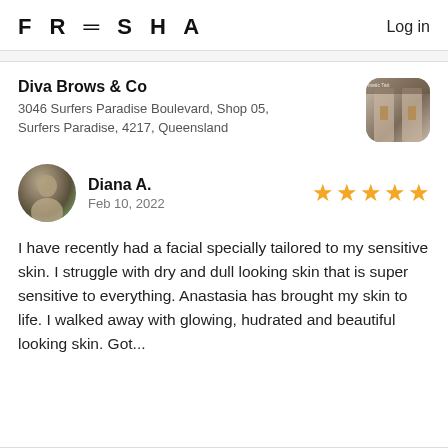FRESHA  Log in
Diva Brows & Co
3046 Surfers Paradise Boulevard, Shop 05, Surfers Paradise, 4217, Queensland
[Figure (photo): Thumbnail photo of Diva Brows & Co storefront with curtains and a display]
[Figure (photo): Circular avatar photo of reviewer Diana A.]
Diana A.
Feb 10, 2022
[Figure (other): 5 gold star rating icons]
I have recently had a facial specially tailored to my sensitive skin. I struggle with dry and dull looking skin that is super sensitive to everything. Anastasia has brought my skin to life. I walked away with glowing, hudrated and beautiful looking skin. Got...